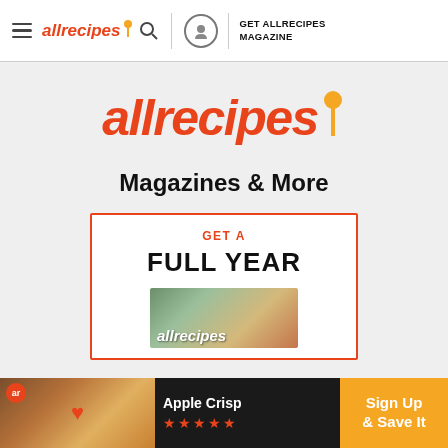allrecipes | GET ALLRECIPES MAGAZINE
[Figure (logo): Allrecipes logo with orange text and gold spoon icon, large centered display]
Magazines & More
[Figure (infographic): Promotional box with orange border reading GET A FULL YEAR with allrecipes magazine cover image below]
[Figure (infographic): Bottom banner advertisement showing Apple Crisp food image with heart icon, star rating, and Sign Up & Save It call-to-action button]